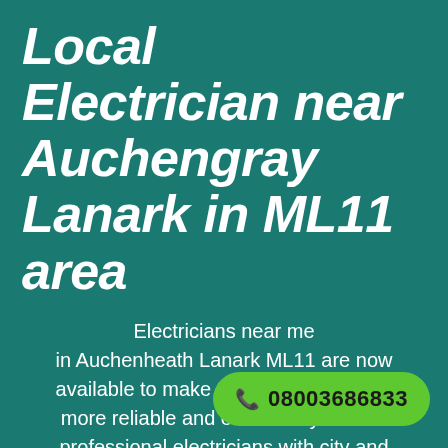Local Electrician near Auchengray Lanark in ML11 area
Electricians near me in Auchenheath Lanark ML11 are now available to make the electrical choice more reliable and easier for you. The professional electricians with city and guilds certification. Who are best in resolving domestic and electrical disputes. What are you
[Figure (infographic): Green rounded button with phone icon and number 08003686833]